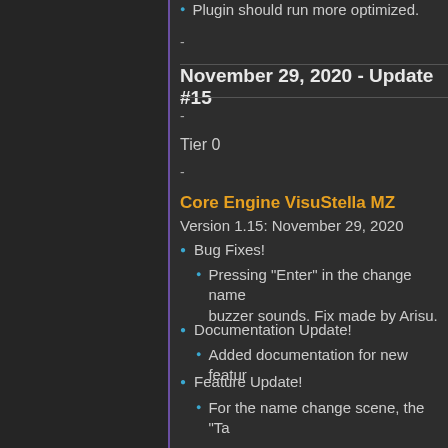Plugin should run more optimized.
-
November 29, 2020 - Update #15
-
Tier 0
-
Core Engine VisuStella MZ
Version 1.15: November 29, 2020
Bug Fixes!
Pressing "Enter" in the change name buzzer sounds. Fix made by Arisu.
Documentation Update!
Added documentation for new featur
Feature Update!
For the name change scene, the "Ta